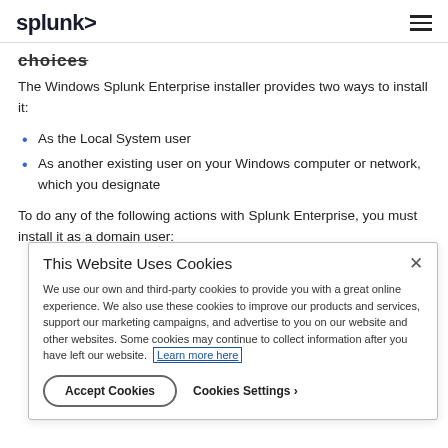splunk>
choices
The Windows Splunk Enterprise installer provides two ways to install it:
As the Local System user
As another existing user on your Windows computer or network, which you designate
To do any of the following actions with Splunk Enterprise, you must install it as a domain user:
This Website Uses Cookies
We use our own and third-party cookies to provide you with a great online experience. We also use these cookies to improve our products and services, support our marketing campaigns, and advertise to you on our website and other websites. Some cookies may continue to collect information after you have left our website. Learn more here
Accept Cookies
Cookies Settings ›